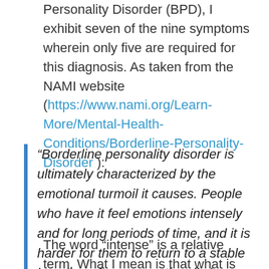Personality Disorder (BPD), I exhibit seven of the nine symptoms wherein only five are required for this diagnosis. As taken from the NAMI website (https://www.nami.org/Learn-More/Mental-Health-Conditions/Borderline-Personality-Disorder ):
“Borderline personality disorder is ultimately characterized by the emotional turmoil it causes. People who have it feel emotions intensely and for long periods of time, and it is harder for them to return to a stable baseline after an emotionally intense event.”
The word “intense” is a relative term. What I mean is that what is experienced as an intense